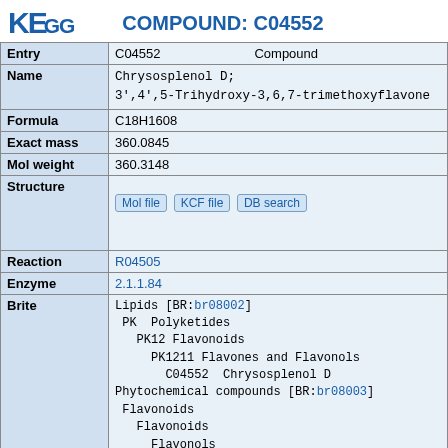[Figure (logo): KEGG logo with stylized letters KE and GG in blue]
COMPOUND: C04552
| Field | Value |
| --- | --- |
| Entry | C04552    Compound |
| Name | Chrysosplenol D;
3',4',5-Trihydroxy-3,6,7-trimethoxyflavone |
| Formula | C18H1608 |
| Exact mass | 360.0845 |
| Mol weight | 360.3148 |
| Structure | [Mol file] [KCF file] [DB search] |
| Reaction | R04505 |
| Enzyme | 2.1.1.84 |
| Brite | Lipids [BR:br08002]
 PK  Polyketides
   PK12 Flavonoids
     PK1211 Flavones and Flavonols
       C04552  Chrysosplenol D
Phytochemical compounds [BR:br08003]
 Flavonoids
   Flavonoids
     Flavonols
       C04552  Chrysosplenol D
[BRITE hierarchy] |